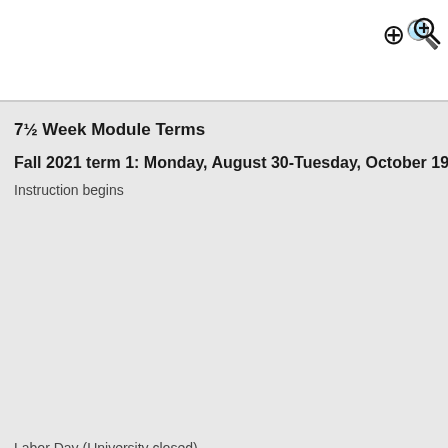7½ Week Module Terms
Fall 2021 term 1: Monday, August 30-Tuesday, October 19
Instruction begins
Labor Day (University closed)